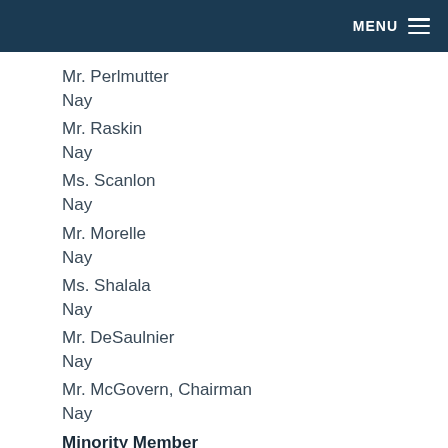MENU
Mr. Perlmutter
Nay
Mr. Raskin
Nay
Ms. Scanlon
Nay
Mr. Morelle
Nay
Ms. Shalala
Nay
Mr. DeSaulnier
Nay
Mr. McGovern, Chairman
Nay
Minority Member